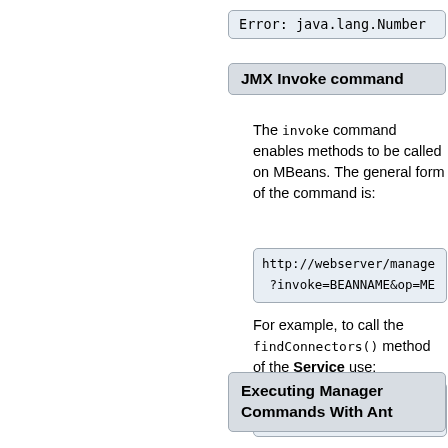Error: java.lang.Number
JMX Invoke command
The invoke command enables methods to be called on MBeans. The general form of the command is:
http://webserver/manage
?invoke=BEANNAME&op=ME
For example, to call the findConnectors() method of the Service use:
http://localhost:8080/m
?invoke=Catalina%3Atyp
Executing Manager Commands With Ant